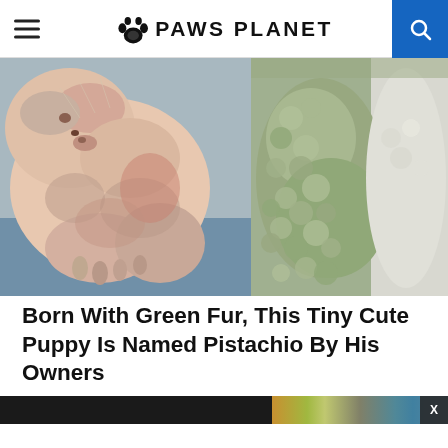PAWS PLANET
[Figure (photo): Two photos side by side: left shows a newborn hairless puppy with pink skin and tiny claws on a blue surface; right shows a green-furred fluffy puppy nestled against white fur]
Born With Green Fur, This Tiny Cute Puppy Is Named Pistachio By His Owners
[Figure (other): Advertisement banner at the bottom of the page with dark left panel and colorful right panel showing a cat, with an X close button]